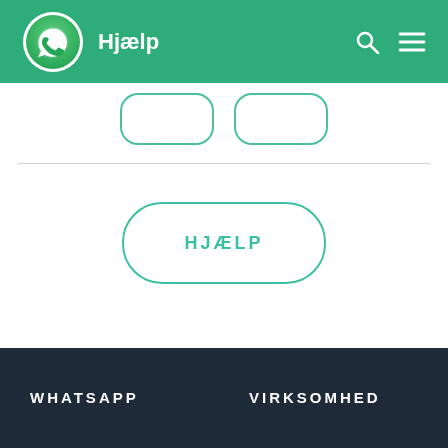Hjælp
[Figure (screenshot): Two partial rounded rectangle buttons with teal border at top of main content area]
[Figure (screenshot): HJÆLP button - rounded rectangle with teal border and teal uppercase text reading HJÆLP]
WHATSAPP   VIRKSOMHED